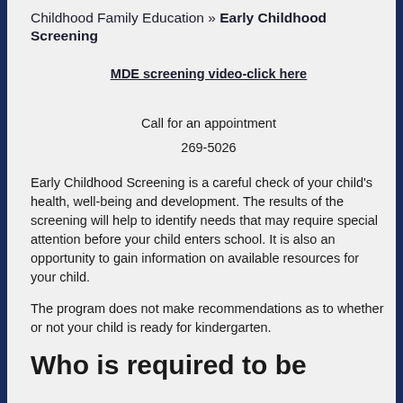Childhood Family Education » Early Childhood Screening
MDE screening video-click here
Call for an appointment
269-5026
Early Childhood Screening is a careful check of your child's health, well-being and development.  The results of the screening will help to identify needs that may require special attention before your child enters school.  It is also an opportunity to gain information on available resources for your child.
The program does not make recommendations as to whether or not your child is ready for kindergarten.
Who is required to be